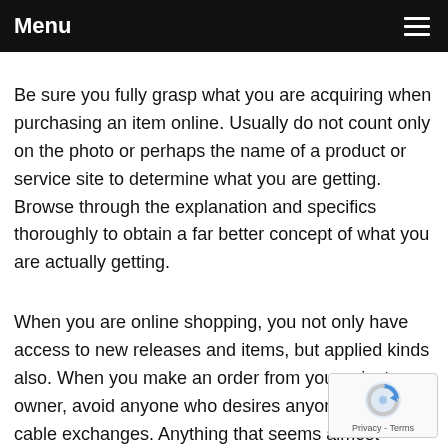Menu
Be sure you fully grasp what you are acquiring when purchasing an item online. Usually do not count only on the photo or perhaps the name of a product or service site to determine what you are getting. Browse through the explanation and specifics thoroughly to obtain a far better concept of what you are actually getting.
When you are online shopping, you not only have access to new releases and items, but applied kinds also. When you make an order from your private owner, avoid anyone who desires anyone to deal in cable exchanges. Anything that seems almost certainly is and you should steer very clear!
[Figure (logo): reCAPTCHA badge with Privacy and Terms text]